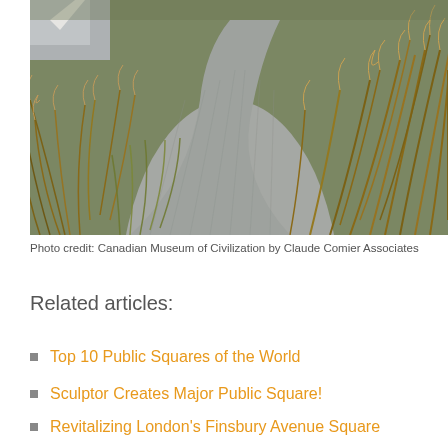[Figure (photo): Outdoor pathway surrounded by tall ornamental grasses in shades of brown and green, with paved stone walkway curving through the landscape. A street or parking area is partially visible in the upper left corner.]
Photo credit: Canadian Museum of Civilization by Claude Comier Associates
Related articles:
Top 10 Public Squares of the World
Sculptor Creates Major Public Square!
Revitalizing London's Finsbury Avenue Square